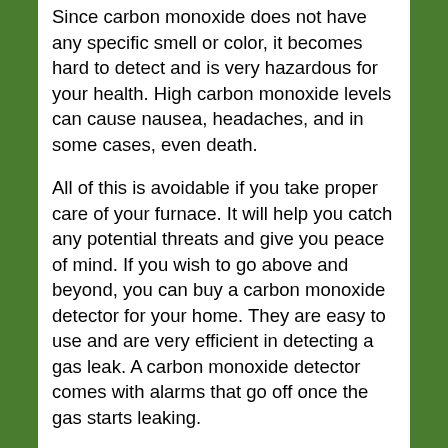Since carbon monoxide does not have any specific smell or color, it becomes hard to detect and is very hazardous for your health. High carbon monoxide levels can cause nausea, headaches, and in some cases, even death.
All of this is avoidable if you take proper care of your furnace. It will help you catch any potential threats and give you peace of mind. If you wish to go above and beyond, you can buy a carbon monoxide detector for your home. They are easy to use and are very efficient in detecting a gas leak. A carbon monoxide detector comes with alarms that go off once the gas starts leaking.
Now that you know why you should get your